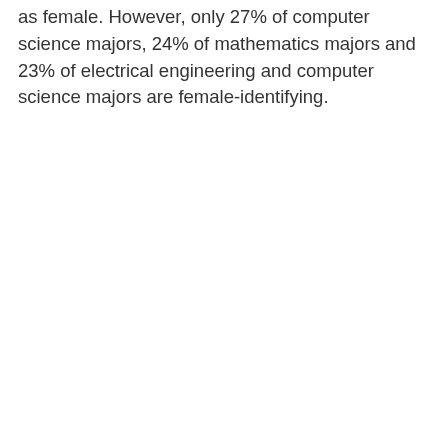as female. However, only 27% of computer science majors, 24% of mathematics majors and 23% of electrical engineering and computer science majors are female-identifying.